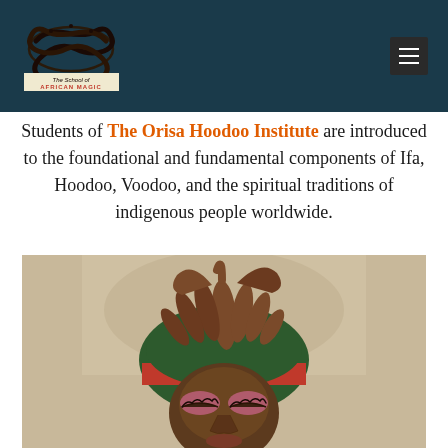The School of African Magic
Students of The Orisa Hoodoo Institute are introduced to the foundational and fundamental components of Ifa, Hoodoo, Voodoo, and the spiritual traditions of indigenous people worldwide.
[Figure (photo): Close-up photograph of a Black woman wearing a green and red head wrap with decorative brooch, with thick locs arranged upward on her head. She has bold pink eye makeup and long lashes, looking downward.]